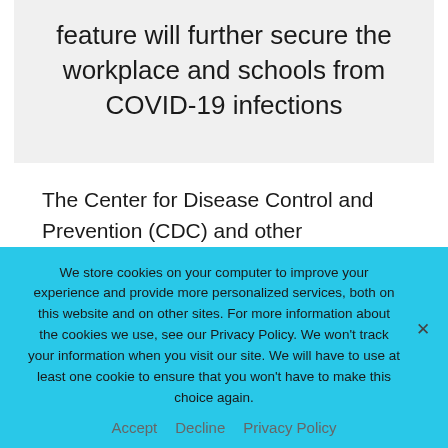feature will further secure the workplace and schools from COVID-19 infections
The Center for Disease Control and Prevention (CDC) and other collaborative health agencies initiated the Immunization Integration Program (IIP) four years ago. After clinicians found it
We store cookies on your computer to improve your experience and provide more personalized services, both on this website and on other sites. For more information about the cookies we use, see our Privacy Policy. We won't track your information when you visit our site. We will have to use at least one cookie to ensure that you won't have to make this choice again.
Accept   Decline   Privacy Policy